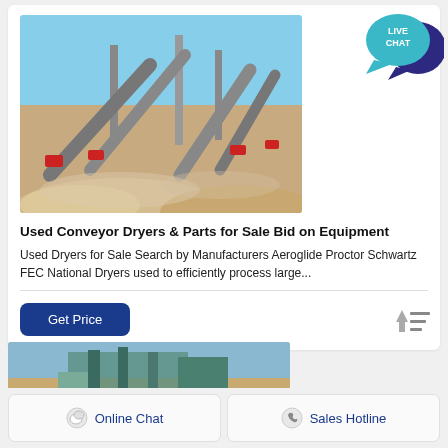[Figure (photo): Industrial conveyor dryer machinery with multiple conveyor belts and equipment at an outdoor quarry/processing site with blue sky background]
Used Conveyor Dryers & Parts for Sale Bid on Equipment
Used Dryers for Sale Search by Manufacturers Aeroglide Proctor Schwartz FEC National Dryers used to efficiently process large...
[Figure (illustration): Live Chat speech bubble icon in teal/blue colors]
[Figure (illustration): Sort/filter icon with up arrow and lines]
[Figure (photo): Industrial conveyor/dryer equipment at a quarry or processing site]
Online Chat
Sales Hotline